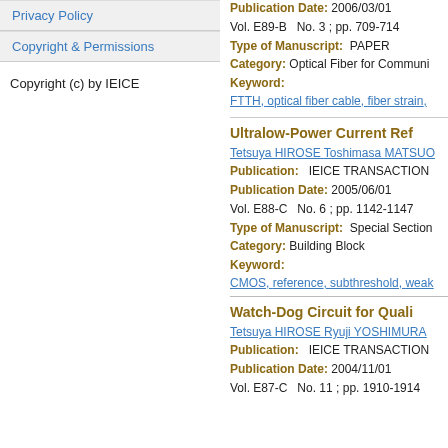Privacy Policy
Copyright & Permissions
Copyright (c) by IEICE
Publication Date: 2006/03/01
Vol. E89-B  No. 3 ; pp. 709-714
Type of Manuscript:  PAPER
Category: Optical Fiber for Communi...
Keyword:
FTTH, optical fiber cable, fiber strain,
Ultralow-Power Current Ref...
Tetsuya HIROSE  Toshimasa MATSUO...
Publication:   IEICE TRANSACTION...
Publication Date: 2005/06/01
Vol. E88-C  No. 6 ; pp. 1142-1147
Type of Manuscript:  Special Section...
Category: Building Block
Keyword:
CMOS, reference, subthreshold, weak...
Watch-Dog Circuit for Quali...
Tetsuya HIROSE  Ryuji YOSHIMURA...
Publication:   IEICE TRANSACTION...
Publication Date: 2004/11/01
Vol. E87-C  No. 11 ; pp. 1910-1914